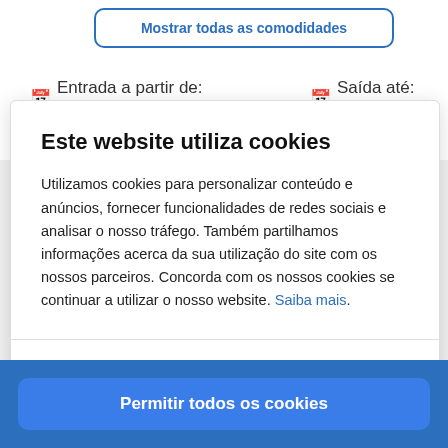[Figure (screenshot): Partial background page showing a blue-outlined button labeled 'Mostrar todas as comodidades' and check-in/check-out info icons with text 'Entrada a partir de: 14:00' and 'Saída até: 12:00']
Este website utiliza cookies
Utilizamos cookies para personalizar conteúdo e anúncios, fornecer funcionalidades de redes sociais e analisar o nosso tráfego. Também partilhamos informações acerca da sua utilização do site com os nossos parceiros. Concorda com os nossos cookies se continuar a utilizar o nosso website. Saiba mais.
Mostrar detalhes
Permitir todos os cookies